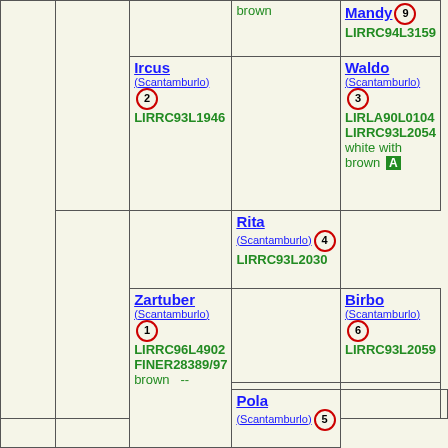|  |  |  | brown | Mandy ⑨
LIRRC94L3159 |
|  |  | Ircus
(Scantamburlo) ②
LIRRC93L1946 |  | Waldo
(Scantamburlo) ③
LIRLA90L0104
LIRRC93L2054
white with brown A |
|  |  |  |  | Rita
(Scantamburlo) ④
LIRRC93L2030 |
|  | Zartuber
(Scantamburlo) ①
LIRRC96L4902
FINER28389/97
brown -- |  |  | Birbo
(Scantamburlo) ⑥
LIRRC93L2059 |
|  |  | Pola
(Scantamburlo) ⑤ |  |  |